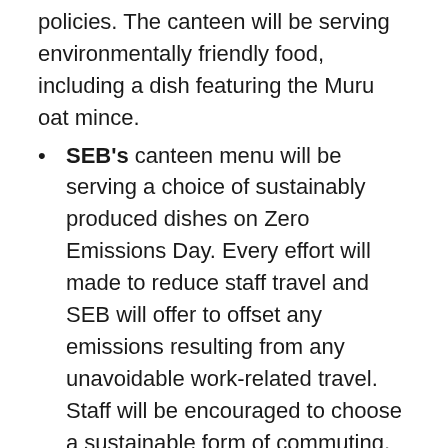policies. The canteen will be serving environmentally friendly food, including a dish featuring the Muru oat mince.
SEB's canteen menu will be serving a choice of sustainably produced dishes on Zero Emissions Day. Every effort will made to reduce staff travel and SEB will offer to offset any emissions resulting from any unavoidable work-related travel. Staff will be encouraged to choose a sustainable form of commuting, such as cycling or public transport and to work from home. All staff will also have the opportunity to calculate their own personal carbon footprint. Information on climate change will be available throughout the day and staff who wish to do so can jointly offset